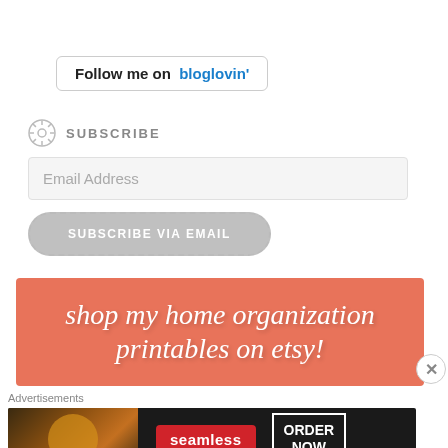[Figure (screenshot): Follow me on bloglovin' button with border]
SUBSCRIBE
[Figure (screenshot): Email Address input field]
[Figure (screenshot): SUBSCRIBE VIA EMAIL dashed border button]
[Figure (illustration): shop my home organization printables on etsy! banner with salmon/coral background]
Advertisements
[Figure (screenshot): Seamless food ordering advertisement with pizza image, seamless logo, and ORDER NOW button]